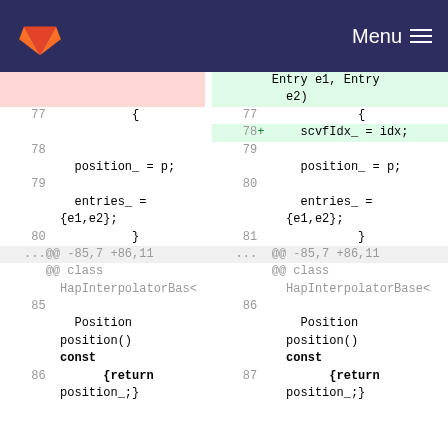GitLab Menu
[Figure (screenshot): GitLab diff view showing code changes in a C++ file with two-panel diff. Left panel shows old code, right panel shows new code with an added line 'scvfIdx_ = idx;' highlighted in green.]